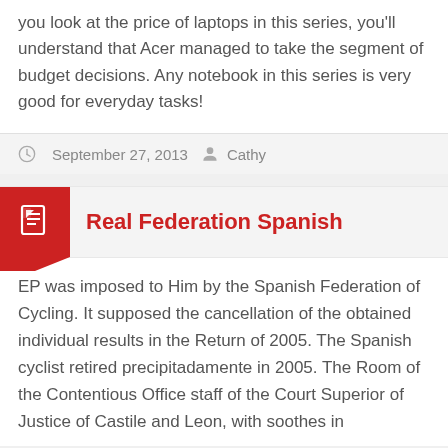you look at the price of laptops in this series, you'll understand that Acer managed to take the segment of budget decisions. Any notebook in this series is very good for everyday tasks!
September 27, 2013  Cathy
Real Federation Spanish
EP was imposed to Him by the Spanish Federation of Cycling. It supposed the cancellation of the obtained individual results in the Return of 2005. The Spanish cyclist retired precipitadamente in 2005. The Room of the Contentious Office staff of the Court Superior of Justice of Castile and Leon, with soothes in